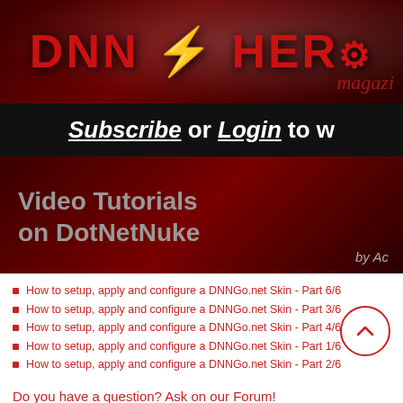[Figure (logo): DNN Hero Magazine banner logo with dark red background]
Subscribe or Login to w
[Figure (illustration): Video Tutorials on DotNetNuke banner with dark red gradient background, by Ac...]
How to setup, apply and configure a DNNGo.net Skin - Part 6/6
How to setup, apply and configure a DNNGo.net Skin - Part 3/6
How to setup, apply and configure a DNNGo.net Skin - Part 4/6
How to setup, apply and configure a DNNGo.net Skin - Part 1/6
How to setup, apply and configure a DNNGo.net Skin - Part 2/6
Do you have a question? Ask on our Forum!